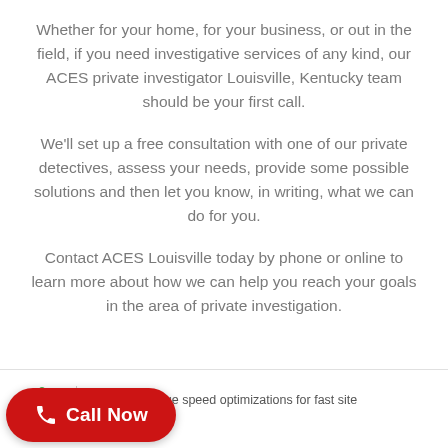Whether for your home, for your business, or out in the field, if you need investigative services of any kind, our ACES private investigator Louisville, Kentucky team should be your first call.
We'll set up a free consultation with one of our private detectives, assess your needs, provide some possible solutions and then let you know, in writing, what we can do for you.
Contact ACES Louisville today by phone or online to learn more about how we can help you reach your goals in the area of private investigation.
[Figure (logo): Optimized By logo with green arc graphic and small text label]
Automated page speed optimizations for fast site performance
[Figure (other): Red rounded Call Now button with phone icon]